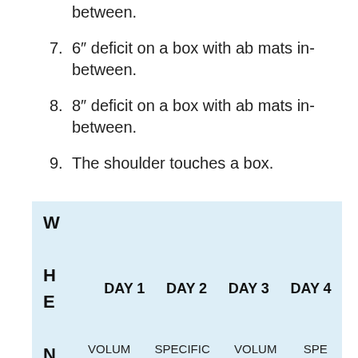between.
7. 6″ deficit on a box with ab mats in-between.
8. 8″ deficit on a box with ab mats in-between.
9. The shoulder touches a box.
| WHEN | DAY 1 | DAY 2 | DAY 3 | DAY 4 |
| --- | --- | --- | --- | --- |
| W
H
E
N | DAY 1 | DAY 2 | DAY 3 | DAY 4 |
VOLUM   SPECIFIC   VOLUM   SPE